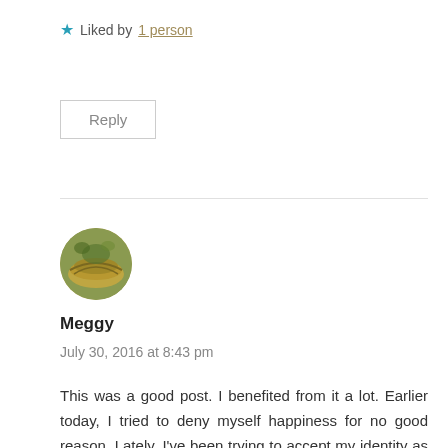★ Liked by 1 person
Reply
[Figure (photo): Circular avatar photo showing a person wearing a woven hat outdoors with green foliage background]
Meggy
July 30, 2016 at 8:43 pm
This was a good post. I benefited from it a lot. Earlier today, I tried to deny myself happiness for no good reason. Lately, I've been trying to accept my identity as wrapped up in my survival through mental illness, and using that as a basis for being more real with people. These days, I hate any interaction with people that doesn't, in my mind/demeanor, acknowledge that harder side of my life. I hate to pretend